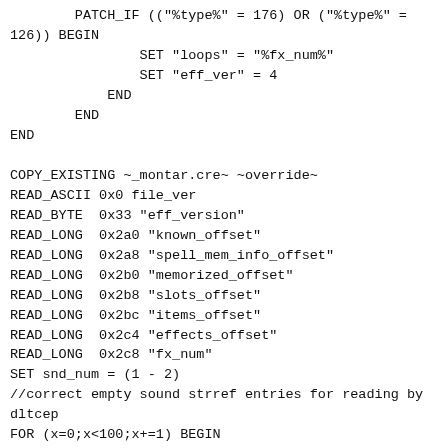PATCH_IF (("%type%" = 176) OR ("%type%" =
126)) BEGIN
                SET "loops" = "%fx_num%"
                SET "eff_ver" = 4
            END
        END
END

COPY_EXISTING ~_montar.cre~ ~override~
READ_ASCII 0x0 file_ver
READ_BYTE  0x33 "eff_version"
READ_LONG  0x2a0 "known_offset"
READ_LONG  0x2a8 "spell_mem_info_offset"
READ_LONG  0x2b0 "memorized_offset"
READ_LONG  0x2b8 "slots_offset"
READ_LONG  0x2bc "items_offset"
READ_LONG  0x2c4 "effects_offset"
READ_LONG  0x2c8 "fx_num"
SET snd_num = (1 - 2)
//correct empty sound strref entries for reading by
dltcep
FOR (x=0;x<100;x+=1) BEGIN
 READ_LONG (0xa4 + (%x% * 4)) snd_string
 READ_STRREF (0xa4 + (%x% * 4)) ~snd_text~